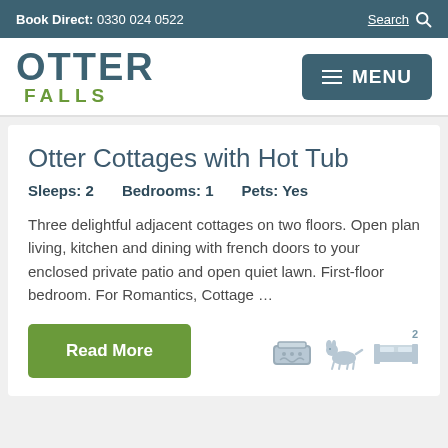Book Direct: 0330 024 0522   Search
[Figure (logo): Otter Falls logo with OTTER in dark teal and FALLS in green]
Otter Cottages with Hot Tub
Sleeps: 2    Bedrooms: 1    Pets: Yes
Three delightful adjacent cottages on two floors. Open plan living, kitchen and dining with french doors to your enclosed private patio and open quiet lawn. First-floor bedroom. For Romantics, Cottage …
Read More
[Figure (illustration): Three small grey icons: hot tub, dog/pet, and bed with number 2]